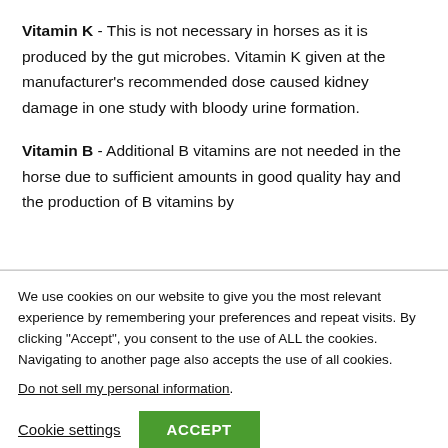Vitamin K - This is not necessary in horses as it is produced by the gut microbes. Vitamin K given at the manufacturer's recommended dose caused kidney damage in one study with bloody urine formation.
Vitamin B - Additional B vitamins are not needed in the horse due to sufficient amounts in good quality hay and the production of B vitamins by
We use cookies on our website to give you the most relevant experience by remembering your preferences and repeat visits. By clicking "Accept", you consent to the use of ALL the cookies. Navigating to another page also accepts the use of all cookies.
Do not sell my personal information.
Cookie settings  ACCEPT